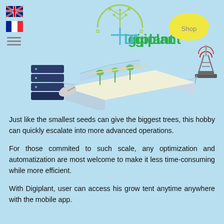[Figure (illustration): Digiplant logo at top center with circuit tree graphic, UK and French flags top-left, hamburger menu icon, isometric illustration of a grow tent/greenhouse connected to a server stack and a radio tower, yellow cloud with 'Shop' label top-right]
Just like the smallest seeds can give the biggest trees, this hobby can quickly escalate into more advanced operations.
For those commited to such scale, any optimization and automatization are most welcome to make it less time-consuming while more efficient.
With Digiplant, user can access his grow tent anytime anywhere with the mobile app.